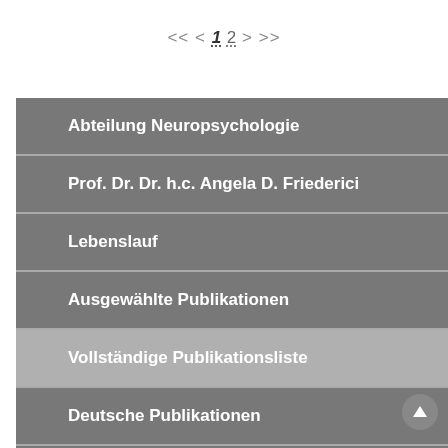<< < 1 2 > >>
Abteilung Neuropsychologie
Prof. Dr. Dr. h.c. Angela D. Friederici
Lebenslauf
Ausgewählte Publikationen
Vollständige Publikationsliste
Deutsche Publikationen
Präsentationen